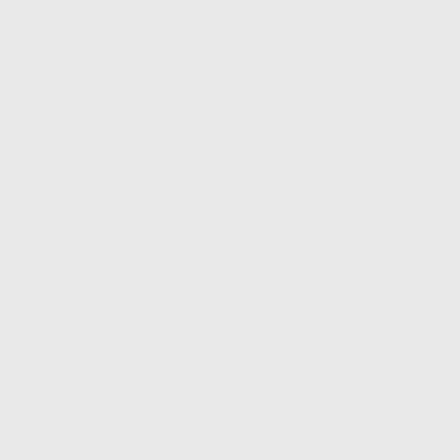'the woman with blond braids' I question her about the Michigan driver(s) who came to the TCF Center ballot drop box at approximately... First question I asked them ' Where did you pick these ballots up from? Was it from Dominion 'Counting Warehouse'? Did you see the test ballots? The lady who was hauling 'test ballots' from that warehouse... she's not the only one who saw these 'test ballots'. Who's to say they weren't piling them up to be used later? The printing on them on election night and many other questions that I think need to be asked about what up on how...